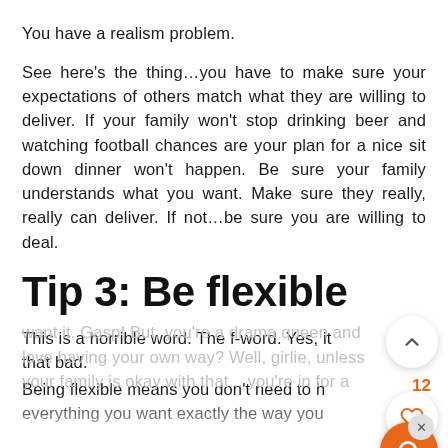You have a realism problem.
See here’s the thing…you have to make sure your expectations of others match what they are willing to deliver. If your family won’t stop drinking beer and watching football chances are your plan for a nice sit down dinner won’t happen. Be sure your family understands what you want. Make sure they really, really can deliver. If not…be sure you are willing to deal.
Tip 3: Be flexible
This is a horrible word. The f-word. Yes, it’s that bad.
Being flexible means you don’t need to have everything you want exactly the way you want it. Gasp! But, you’re a drama queen and love having your own way? Well, girlie, unless your family is okay with that... you’re in for a